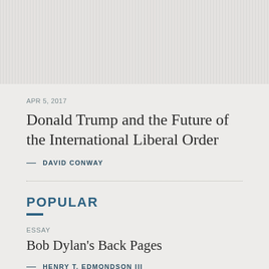[Figure (illustration): Decorative graphic placeholder with vertical stripe pattern]
APR 5, 2017
Donald Trump and the Future of the International Liberal Order
— DAVID CONWAY
POPULAR
ESSAY
Bob Dylan's Back Pages
— HENRY T. EDMONDSON III